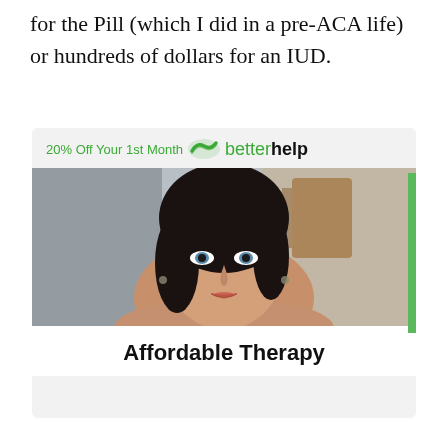for the Pill (which I did in a pre-ACA life) or hundreds of dollars for an IUD.
[Figure (infographic): BetterHelp advertisement showing '20% Off Your 1st Month' with BetterHelp logo, a photo of a young woman with dark hair, and the text 'Affordable Therapy' below.]